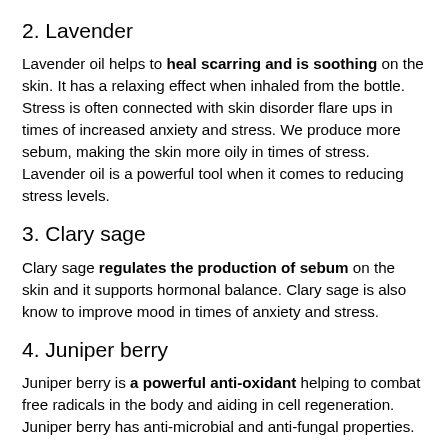2. Lavender
Lavender oil helps to heal scarring and is soothing on the skin. It has a relaxing effect when inhaled from the bottle. Stress is often connected with skin disorder flare ups in times of increased anxiety and stress. We produce more sebum, making the skin more oily in times of stress. Lavender oil is a powerful tool when it comes to reducing stress levels.
3. Clary sage
Clary sage regulates the production of sebum on the skin and it supports hormonal balance. Clary sage is also know to improve mood in times of anxiety and stress.
4. Juniper berry
Juniper berry is a powerful anti-oxidant helping to combat free radicals in the body and aiding in cell regeneration. Juniper berry has anti-microbial and anti-fungal properties.
5. Bergamot